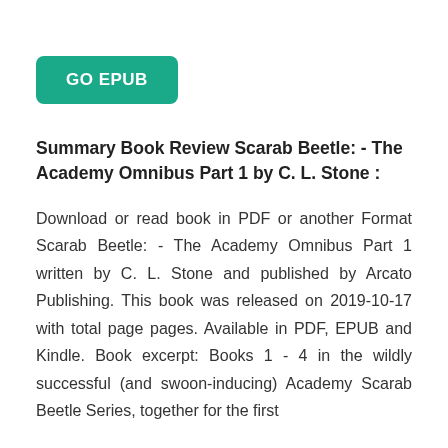[Figure (other): GO EPUB button — teal/green rounded rectangle with white bold text]
Summary Book Review Scarab Beetle: - The Academy Omnibus Part 1 by C. L. Stone :
Download or read book in PDF or another Format Scarab Beetle: - The Academy Omnibus Part 1 written by C. L. Stone and published by Arcato Publishing. This book was released on 2019-10-17 with total page pages. Available in PDF, EPUB and Kindle. Book excerpt: Books 1 - 4 in the wildly successful (and swoon-inducing) Academy Scarab Beetle Series, together for the first